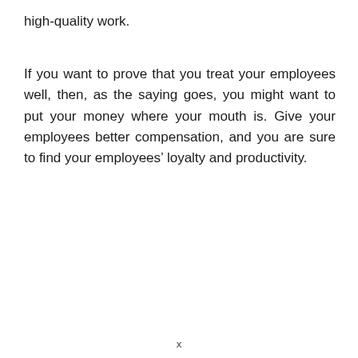high-quality work.
If you want to prove that you treat your employees well, then, as the saying goes, you might want to put your money where your mouth is. Give your employees better compensation, and you are sure to find your employees’ loyalty and productivity.
x